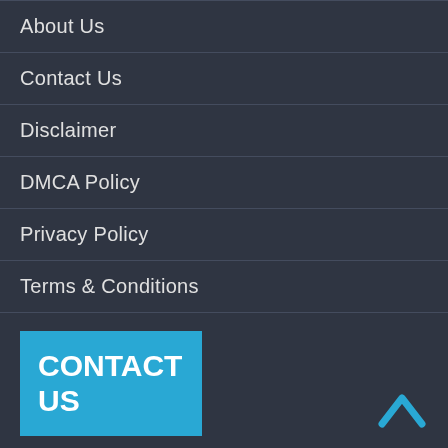About Us
Contact Us
Disclaimer
DMCA Policy
Privacy Policy
Terms & Conditions
CONTACT US
4045 Pinewood Drive, ANCHORAGE, AK 99501
Contact Number:
Phone: +(1) 877-